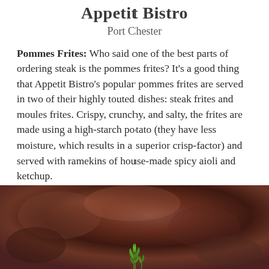Appetit Bistro
Port Chester
Pommes Frites: Who said one of the best parts of ordering steak is the pommes frites? It’s a good thing that Appetit Bistro’s popular pommes frites are served in two of their highly touted dishes: steak frites and moules frites. Crispy, crunchy, and salty, the frites are made using a high-starch potato (they have less moisture, which results in a superior crisp-factor) and served with ramekins of house-made spicy aioli and ketchup.
[Figure (photo): A blurry food photograph with dark brownish-red background, showing a small green herb or garnish at the bottom center of the image.]